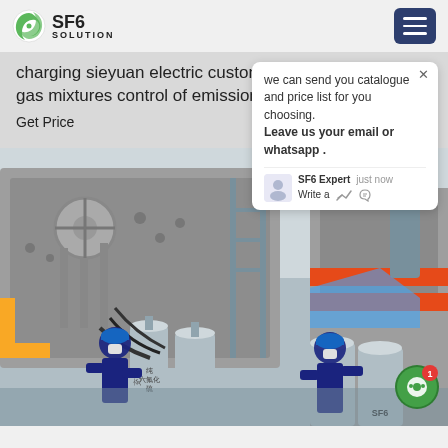SF6 SOLUTION
charging sieyuan electric customizer SF6/N2 SF6/N2-gas mixtures control of emissions iec 61850
Get Price
we can send you catalogue and price list for you choosing. Leave us your email or whatsapp .
SF6 Expert   just now
Write a
[Figure (photo): Two workers in blue uniforms and hard hats handling SF6 gas cylinders next to industrial electrical equipment outdoors. Chinese text visible on cylinders.]